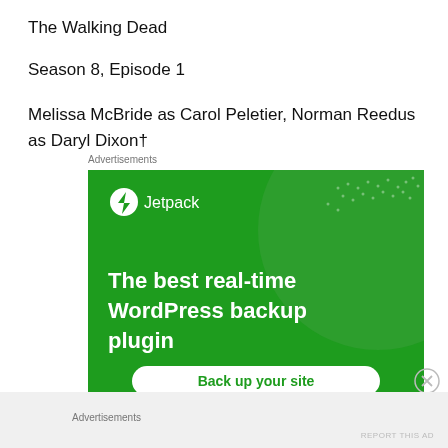The Walking Dead
Season 8, Episode 1
Melissa McBride as Carol Peletier, Norman Reedus as Daryl Dixon†
Advertisements
[Figure (screenshot): Jetpack advertisement banner: green background with large circle graphic and dot pattern. Jetpack logo with lightning bolt icon at top left. Headline text: 'The best real-time WordPress backup plugin'. White rounded button labeled 'Back up your site'.]
Advertisements